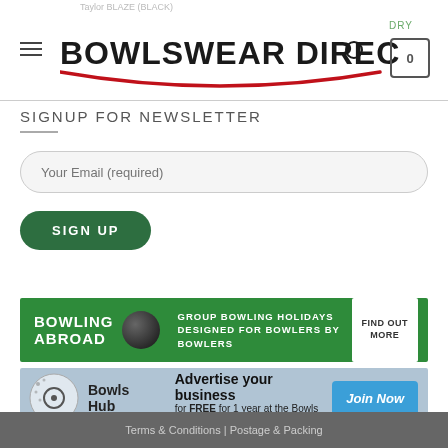[Figure (logo): Bowlswear Direct logo with red swoosh underline]
SIGNUP FOR NEWSLETTER
Your Email (required)
SIGN UP
[Figure (infographic): Bowling Abroad banner: GROUP BOWLING HOLIDAYS DESIGNED FOR BOWLERS BY BOWLERS — FIND OUT MORE]
[Figure (infographic): Bowls Hub banner: Advertise your business for FREE for 1 year at the Bowls Hub — Join Now]
Terms & Conditions | Postage & Packing